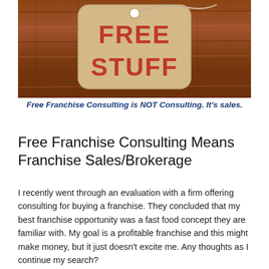[Figure (photo): Photo of a tan paper price tag on a wood background with red bold text reading 'FREE STUFF', with a string attached at the top right corner.]
Free Franchise Consulting is NOT Consulting. It's sales.
Free Franchise Consulting Means Franchise Sales/Brokerage
I recently went through an evaluation with a firm offering consulting for buying a franchise. They concluded that my best franchise opportunity was a fast food concept they are familiar with. My goal is a profitable franchise and this might make money, but it just doesn't excite me. Any thoughts as I continue my search?